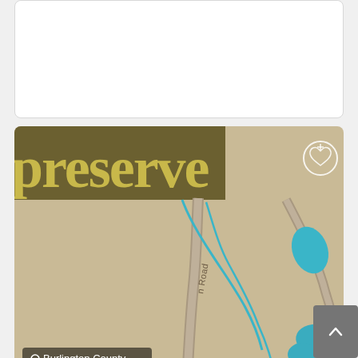[Figure (screenshot): Top white card placeholder area, blank white rectangle with light border]
[Figure (map): Map card showing Black Run Reserve/Preserve trail map. Top-left has a dark olive banner with the word 'preserve' in large gold serif font. A heart/bookmark icon appears in the top-right. The map background is tan/beige showing roads (gray curved lines), water trails (blue/teal curved lines), and water body shapes (teal blobs) in the lower-right. A location badge at bottom-left reads 'Burlington County' with a location pin icon.]
Black Run Reserve/Preserve 4.81 miles
Marlton, Burlington County, NJ